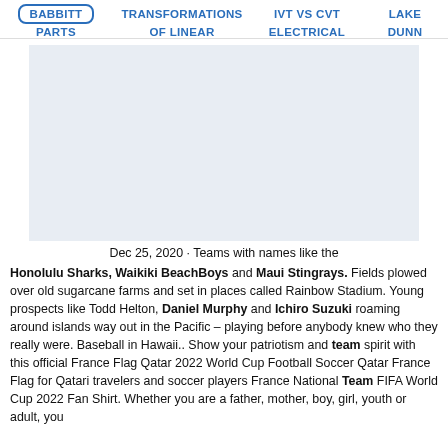BABBITT   TRANSFORMATIONS   IVT VS CVT   LAKE
PARTS   OF LINEAR   ELECTRICAL   DUNN
[Figure (other): Gray rectangular advertisement/image placeholder block]
Dec 25, 2020 · Teams with names like the Honolulu Sharks, Waikiki BeachBoys and Maui Stingrays. Fields plowed over old sugarcane farms and set in places called Rainbow Stadium. Young prospects like Todd Helton, Daniel Murphy and Ichiro Suzuki roaming around islands way out in the Pacific – playing before anybody knew who they really were. Baseball in Hawaii.. Show your patriotism and team spirit with this official France Flag Qatar 2022 World Cup Football Soccer Qatar France Flag for Qatari travelers and soccer players France National Team FIFA World Cup 2022 Fan Shirt. Whether you are a father, mother, boy, girl, youth or adult, you